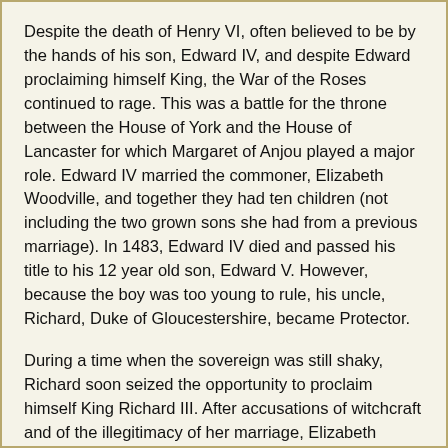Despite the death of Henry VI, often believed to be by the hands of his son, Edward IV, and despite Edward proclaiming himself King, the War of the Roses continued to rage. This was a battle for the throne between the House of York and the House of Lancaster for which Margaret of Anjou played a major role. Edward IV married the commoner, Elizabeth Woodville, and together they had ten children (not including the two grown sons she had from a previous marriage). In 1483, Edward IV died and passed his title to his 12 year old son, Edward V. However, because the boy was too young to rule, his uncle, Richard, Duke of Gloucestershire, became Protector.
During a time when the sovereign was still shaky, Richard soon seized the opportunity to proclaim himself King Richard III. After accusations of witchcraft and of the illegitimacy of her marriage, Elizabeth Woodville sought sanctuary in Westminster Abbey, but not before her two sons, Edward V and his younger brother Richard were taken and locked in the Tower of London.
The War of the Roses raged on and eventually Henry Tudor